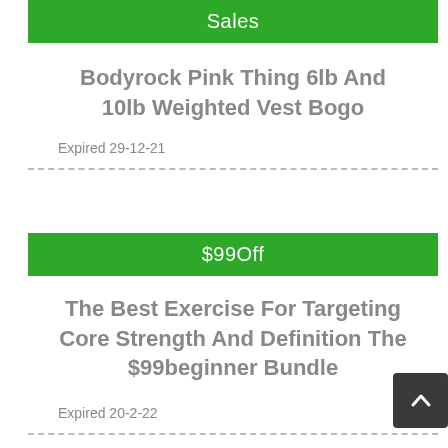Sales
Bodyrock Pink Thing 6lb And 10lb Weighted Vest Bogo
Expired 29-12-21
$99Off
The Best Exercise For Targeting Core Strength And Definition The $99beginner Bundle
Expired 20-2-22